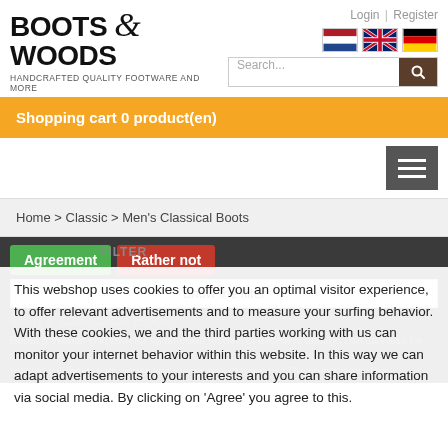[Figure (logo): Boots & Woods logo with tagline HANDCRAFTED QUALITY FOOTWARE AND MORE]
Login | Register
[Figure (illustration): Three country flags: Netherlands, United Kingdom, Germany]
[Figure (other): Search bar with dark brown search button]
Shopping cart 0 product(en)
[Figure (other): Hamburger menu button (three horizontal lines on dark grey background)]
Home > Classic > Men's Classical Boots
Agreement
Rather not
Show the filter
Men's Classical Boots
This webshop uses cookies to offer you an optimal visitor experience, to offer relevant advertisements and to measure your surfing behavior. With these cookies, we and the third parties working with us can monitor your internet behavior within this website. In this way we can adapt advertisements to your interests and you can share information via social media. By clicking on 'Agree' you agree to this.
Boots & Woods is known for its timeless models of excellent quality. This can also be seen in the Classics men's boots. The models within this category are timeless and easy to combine, both under and over a pair of trousers. The men's boots like...